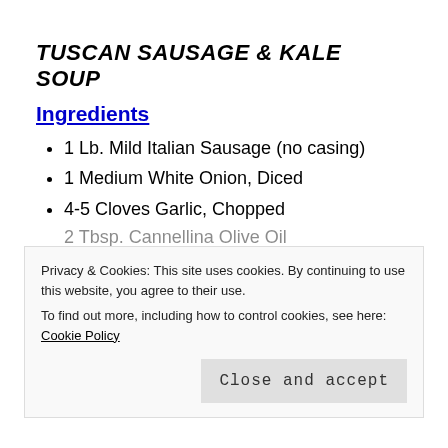TUSCAN SAUSAGE & KALE SOUP
Ingredients
1 Lb. Mild Italian Sausage (no casing)
1 Medium White Onion, Diced
4-5 Cloves Garlic, Chopped
Privacy & Cookies: This site uses cookies. By continuing to use this website, you agree to their use.
To find out more, including how to control cookies, see here: Cookie Policy
Close and accept